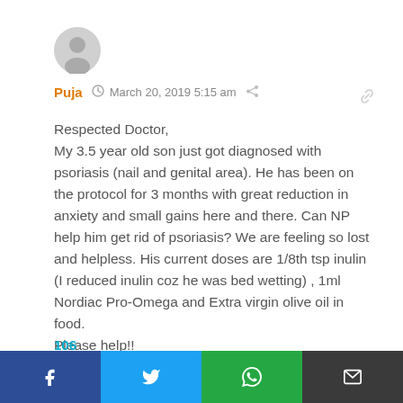[Figure (illustration): Gray circular avatar icon of a person silhouette]
Puja  March 20, 2019 5:15 am
Respected Doctor,
My 3.5 year old son just got diagnosed with psoriasis (nail and genital area). He has been on the protocol for 3 months with great reduction in anxiety and small gains here and there. Can NP help him get rid of psoriasis? We are feeling so lost and helpless. His current doses are 1/8th tsp inulin (I reduced inulin coz he was bed wetting) , 1ml Nordiac Pro-Omega and Extra virgin olive oil in food.
Please help!!
106
[Figure (infographic): Social sharing bar with Facebook, Twitter, WhatsApp, and Email buttons]